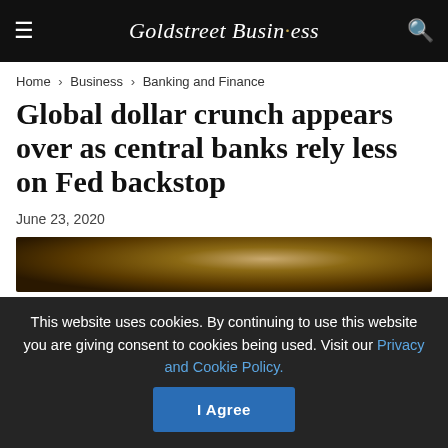Goldstreet Business
Home > Business > Banking and Finance
Global dollar crunch appears over as central banks rely less on Fed backstop
June 23, 2020
[Figure (photo): Close-up photograph of what appears to be gold or financial objects, partially visible]
This website uses cookies. By continuing to use this website you are giving consent to cookies being used. Visit our Privacy and Cookie Policy.